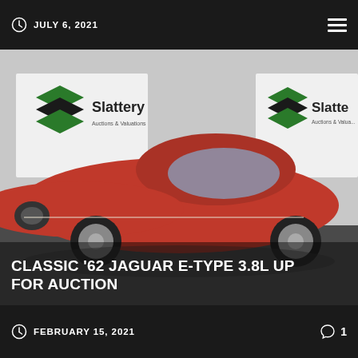JULY 6, 2021
[Figure (photo): Red classic 1962 Jaguar E-Type 3.8L coupe photographed in a Slattery Auctions & Valuations exhibition space with white backdrop and Slattery logos visible]
CLASSIC '62 JAGUAR E-TYPE 3.8L UP FOR AUCTION
FEBRUARY 15, 2021  1